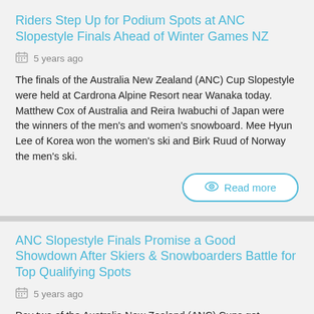Riders Step Up for Podium Spots at ANC Slopestyle Finals Ahead of Winter Games NZ
5 years ago
The finals of the Australia New Zealand (ANC) Cup Slopestyle were held at Cardrona Alpine Resort near Wanaka today. Matthew Cox of Australia and Reira Iwabuchi of Japan were the winners of the men's and women's snowboard. Mee Hyun Lee of Korea won the women's ski and Birk Ruud of Norway the men's ski.
Read more
ANC Slopestyle Finals Promise a Good Showdown After Skiers & Snowboarders Battle for Top Qualifying Spots
5 years ago
Day two of the Australia New Zealand (ANC) Cups got underway at Cardrona Alpine Resort near Wanaka today with freeskiers and snowboarders competing in the qualifying rounds of the